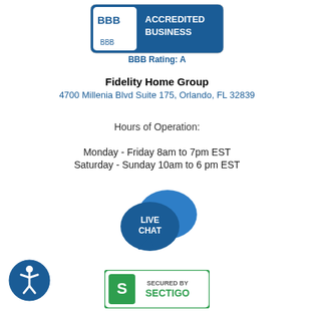[Figure (logo): BBB Accredited Business badge with BBB Rating: A text below]
Fidelity Home Group
4700 Millenia Blvd Suite 175, Orlando, FL 32839
Hours of Operation:
Monday - Friday 8am to 7pm EST
Saturday - Sunday 10am to 6 pm EST
[Figure (illustration): Live Chat speech bubble icon]
[Figure (logo): Secured by Sectigo badge]